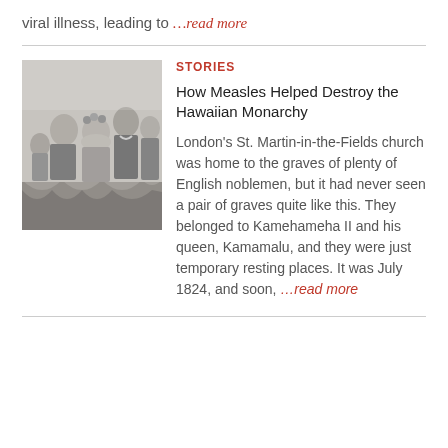viral illness, leading to …read more
[Figure (illustration): Black and white engraving of a group of people including Hawaiian royalty in formal 19th century attire, with draped fabric in background]
STORIES
How Measles Helped Destroy the Hawaiian Monarchy
London's St. Martin-in-the-Fields church was home to the graves of plenty of English noblemen, but it had never seen a pair of graves quite like this. They belonged to Kamehameha II and his queen, Kamamalu, and they were just temporary resting places. It was July 1824, and soon, …read more